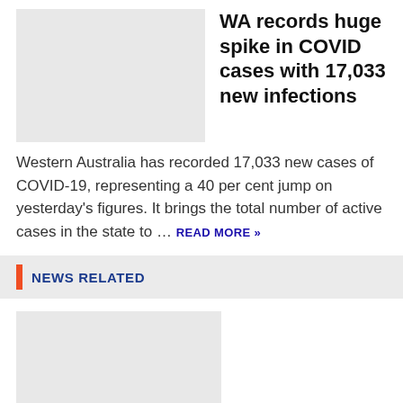WA records huge spike in COVID cases with 17,033 new infections
Western Australia has recorded 17,033 new cases of COVID-19, representing a 40 per cent jump on yesterday’s figures. It brings the total number of active cases in the state to ... READ MORE »
NEWS RELATED
[Figure (photo): Thumbnail image placeholder for related article about steroids]
Steroids halve long